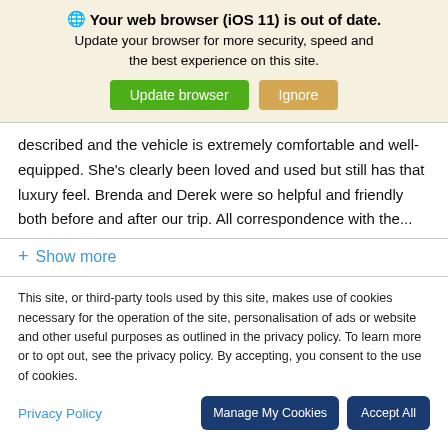🌐 Your web browser (iOS 11) is out of date. Update your browser for more security, speed and the best experience on this site. [Update browser] [Ignore]
described and the vehicle is extremely comfortable and well-equipped. She's clearly been loved and used but still has that luxury feel. Brenda and Derek were so helpful and friendly both before and after our trip. All correspondence with the...
+ Show more
This site, or third-party tools used by this site, makes use of cookies necessary for the operation of the site, personalisation of ads or website and other useful purposes as outlined in the privacy policy. To learn more or to opt out, see the privacy policy. By accepting, you consent to the use of cookies.
Privacy Policy   [Manage My Cookies] [Accept All]